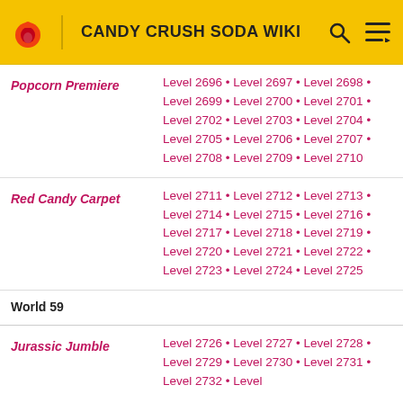CANDY CRUSH SODA WIKI
| Episode | Levels |
| --- | --- |
| Popcorn Premiere | Level 2696 • Level 2697 • Level 2698 • Level 2699 • Level 2700 • Level 2701 • Level 2702 • Level 2703 • Level 2704 • Level 2705 • Level 2706 • Level 2707 • Level 2708 • Level 2709 • Level 2710 |
| Red Candy Carpet | Level 2711 • Level 2712 • Level 2713 • Level 2714 • Level 2715 • Level 2716 • Level 2717 • Level 2718 • Level 2719 • Level 2720 • Level 2721 • Level 2722 • Level 2723 • Level 2724 • Level 2725 |
| World 59 |  |
| Jurassic Jumble | Level 2726 • Level 2727 • Level 2728 • Level 2729 • Level 2730 • Level 2731 • Level 2732 • Level ... |